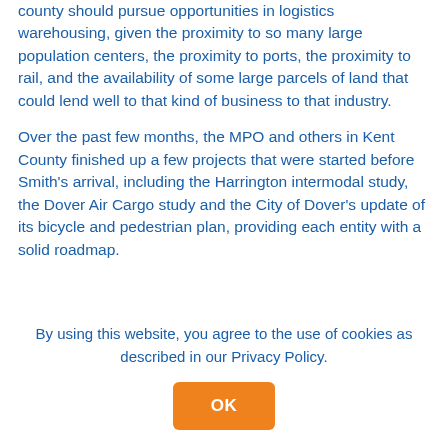county should pursue opportunities in logistics warehousing, given the proximity to so many large population centers, the proximity to ports, the proximity to rail, and the availability of some large parcels of land that could lend well to that kind of business to that industry.
Over the past few months, the MPO and others in Kent County finished up a few projects that were started before Smith's arrival, including the Harrington intermodal study, the Dover Air Cargo study and the City of Dover's update of its bicycle and pedestrian plan, providing each entity with a solid roadmap.
By using this website, you agree to the use of cookies as described in our Privacy Policy.
OK